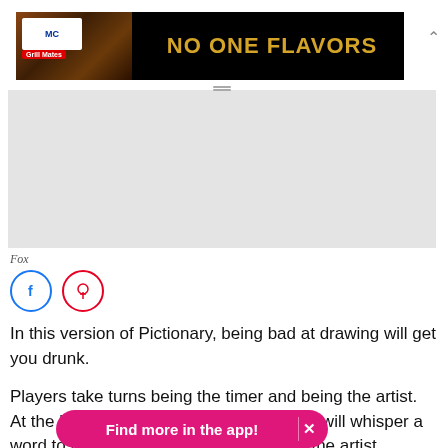[Figure (photo): McCormick Grill Mates advertisement banner with dark background, grilled meat image on left, and text 'NO ONE FLAVORS' in gold/yellow on black background]
[Figure (photo): Gray placeholder image area, likely a video or image from Fox]
Fox
[Figure (other): Social sharing icons: Facebook (blue circle) and Pinterest (red circle)]
In this version of Pictionary, being bad at drawing will get you drunk.
Players take turns being the timer and being the artist. At the beginning of each round, the timer will whisper a word to the artist and start the clock. As the artist drav of paper, the rest of the players shout out what they think the
[Figure (other): App promotion overlay banner with pink/magenta rounded pill shape reading 'Find more in the app!' with an X close button]